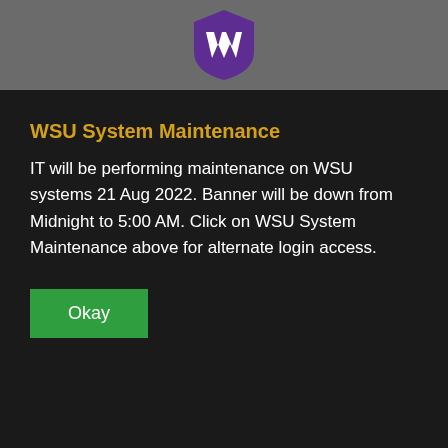[Figure (logo): WSU purple shield logo with stylized W in white, on gray header bar]
WSU System Maintenance
IT will be performing maintenance on WSU systems 21 Aug 2022. Banner will be down from Midnight to 5:00 AM. Click on WSU System Maintenance above for alternate login access.
Okay
[Figure (screenshot): Row of five purple rounded-rectangle icon buttons]
Popular
Majors, Minors & Programs
Admissions